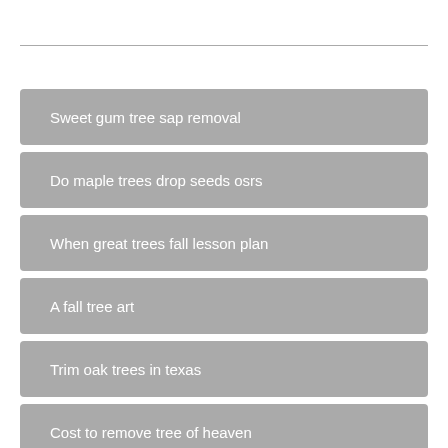Sweet gum tree sap removal
Do maple trees drop seeds osrs
When great trees fall lesson plan
A fall tree art
Trim oak trees in texas
Cost to remove tree of heaven
Fall out boy happy tree friends episode